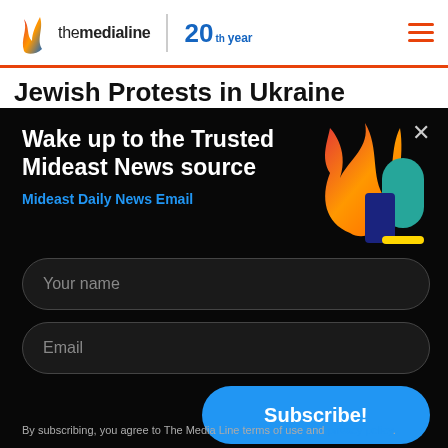themedialine | 20th year
Jewish Protests in Ukraine
Wake up to the Trusted Mideast News source
Mideast Daily News Email
Your name
Email
Subscribe!
By subscribing, you agree to The Media Line terms of use and privacy policy.